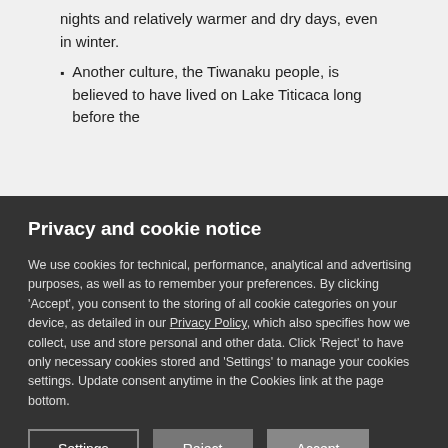nights and relatively warmer and dry days, even in winter.
Another culture, the Tiwanaku people, is believed to have lived on Lake Titicaca long before the
Privacy and cookie notice
We use cookies for technical, performance, analytical and advertising purposes, as well as to remember your preferences. By clicking 'Accept', you consent to the storing of all cookie categories on your device, as detailed in our Privacy Policy, which also specifies how we collect, use and store personal and other data. Click 'Reject' to have only necessary cookies stored and 'Settings' to manage your cookies settings. Update consent anytime in the Cookies link at the page bottom.
Settings | Reject | Accept